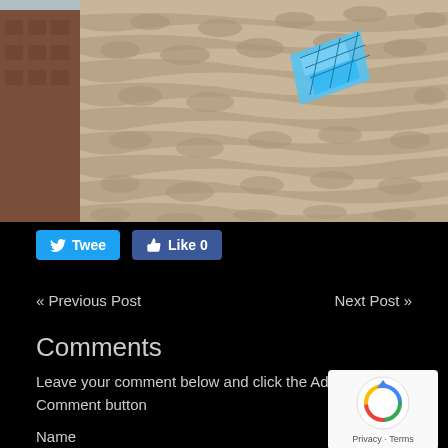[Figure (photo): Architectural photo of a modern building facade with an intricate wavy/honeycomb-like beige concrete exterior pattern, with a glimpse of a blue glass window inset and a taller dark brick building visible in the background against a cloudy sky.]
Twee  Like 0
« Previous Post    Next Post »
Comments
Leave your comment below and click the Add Comment button
Name